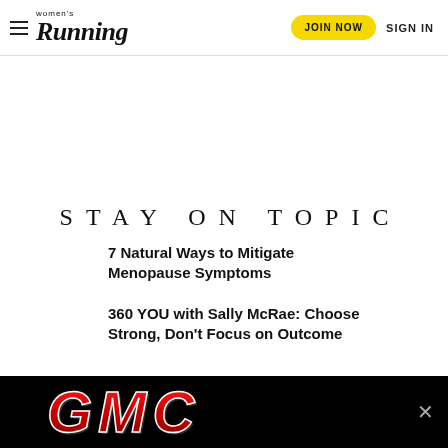Women's Running — JOIN NOW  SIGN IN
STAY ON TOPIC
7 Natural Ways to Mitigate Menopause Symptoms
360 YOU with Sally McRae: Choose Strong, Don't Focus on Outcome
[Figure (logo): GMC advertisement banner with red GMC logo on black background]